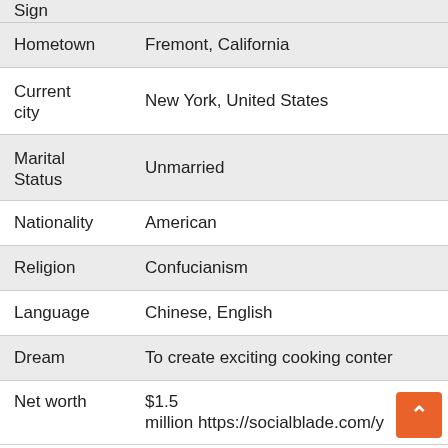| Field | Value |
| --- | --- |
| Sign |  |
| Hometown | Fremont, California |
| Current city | New York, United States |
| Marital Status | Unmarried |
| Nationality | American |
| Religion | Confucianism |
| Language | Chinese, English |
| Dream | To create exciting cooking conter |
| Net worth | $1.5 million https://socialblade.com/y |